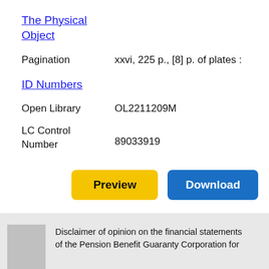The Physical Object
Pagination    xxvi, 225 p., [8] p. of plates :
ID Numbers
Open Library    OL2211209M
LC Control Number    89033919
Preview
Download
Disclaimer of opinion on the financial statements of the Pension Benefit Guaranty Corporation for